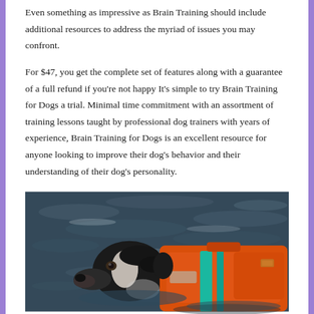Even something as impressive as Brain Training should include additional resources to address the myriad of issues you may confront.
For $47, you get the complete set of features along with a guarantee of a full refund if you're not happy It's simple to try Brain Training for Dogs a trial. Minimal time commitment with an assortment of training lessons taught by professional dog trainers with years of experience, Brain Training for Dogs is an excellent resource for anyone looking to improve their dog's behavior and their understanding of their dog's personality.
[Figure (photo): A dog wearing an orange life jacket swimming in dark water, viewed close-up from the side showing its head and the bright orange vest with teal stripes.]